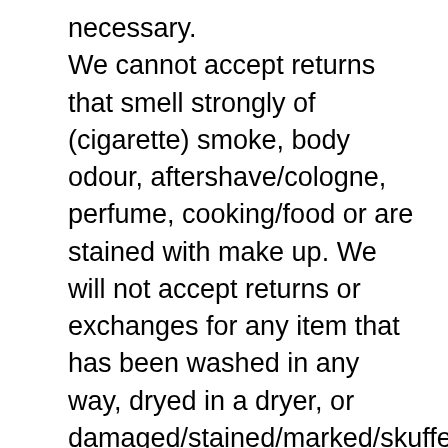necessary. We cannot accept returns that smell strongly of (cigarette) smoke, body odour, aftershave/cologne, perfume, cooking/food or are stained with make up. We will not accept returns or exchanges for any item that has been washed in any way, dryed in a dryer, or damaged/stained/marked/skuffed in any way. Please keep your invoice if you would like to exchange an item. If you require a refund or exchange for any reason you must return the item in all it's packaging, along with your original purchase invoice (keep a copy for yourself) and a brief note explaining who